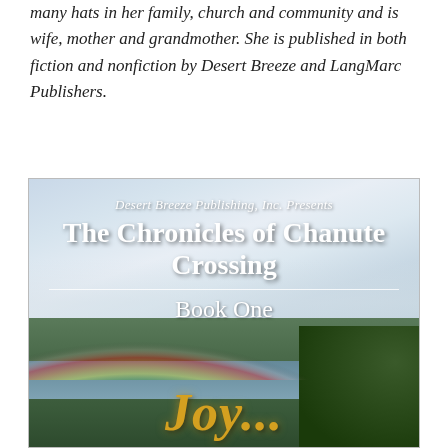many hats in her family, church and community and is wife, mother and grandmother. She is published in both fiction and nonfiction by Desert Breeze and LangMarc Publishers.
[Figure (illustration): Book cover for 'The Chronicles of Chanute Crossing, Book One' by Desert Breeze Publishing, Inc. Features a scenic landscape with a rainbow arching over a lake surrounded by forested hills. A tree is visible in the lower right. Gold italic script lettering appears at the bottom. White text overlay at top reads the publisher name, series title, and book number.]